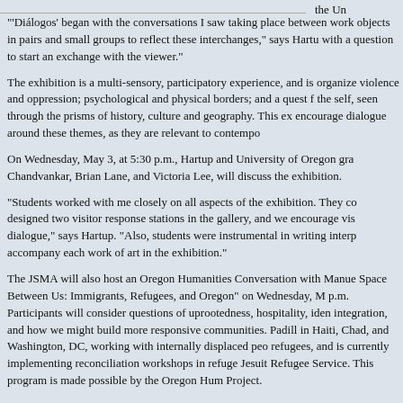the Un
"'Diálogos' began with the conversations I saw taking place between work objects in pairs and small groups to reflect these interchanges," says Hartu with a question to start an exchange with the viewer."
The exhibition is a multi-sensory, participatory experience, and is organize violence and oppression; psychological and physical borders; and a quest f the self, seen through the prisms of history, culture and geography. This ex encourage dialogue around these themes, as they are relevant to contempo
On Wednesday, May 3, at 5:30 p.m., Hartup and University of Oregon gra Chandvankar, Brian Lane, and Victoria Lee, will discuss the exhibition.
"Students worked with me closely on all aspects of the exhibition. They co designed two visitor response stations in the gallery, and we encourage vis dialogue," says Hartup. "Also, students were instrumental in writing interp accompany each work of art in the exhibition."
The JSMA will also host an Oregon Humanities Conversation with Manue Space Between Us: Immigrants, Refugees, and Oregon" on Wednesday, M p.m. Participants will consider questions of uprootedness, hospitality, iden integration, and how we might build more responsive communities. Padill in Haiti, Chad, and Washington, DC, working with internally displaced peo refugees, and is currently implementing reconciliation workshops in refuge Jesuit Refugee Service. This program is made possible by the Oregon Hum Project.